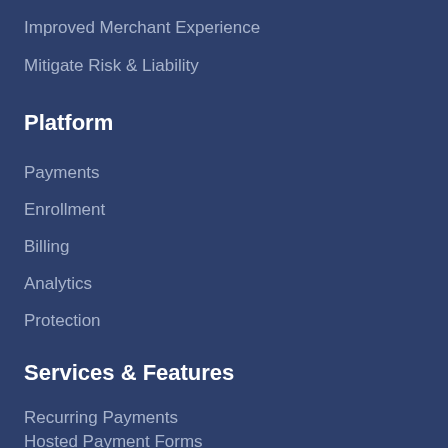Improved Merchant Experience
Mitigate Risk & Liability
Platform
Payments
Enrollment
Billing
Analytics
Protection
Services & Features
Recurring Payments
Hosted Payment Forms
Split Payments